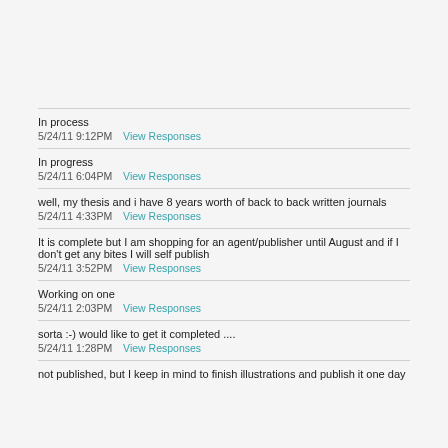In process
5/24/11 9:12PM   View Responses
In progress
5/24/11 6:04PM   View Responses
well, my thesis and i have 8 years worth of back to back written journals
5/24/11 4:33PM   View Responses
It is complete but I am shopping for an agent/publisher until August and if I don't get any bites I will self publish
5/24/11 3:52PM   View Responses
Working on one
5/24/11 2:03PM   View Responses
sorta :-) would like to get it completed ....
5/24/11 1:28PM   View Responses
not published, but I keep in mind to finish illustrations and publish it one day